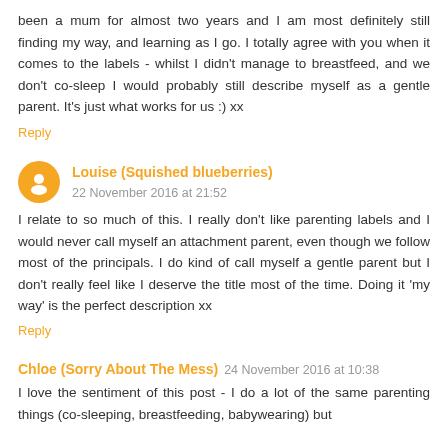been a mum for almost two years and I am most definitely still finding my way, and learning as I go. I totally agree with you when it comes to the labels - whilst I didn't manage to breastfeed, and we don't co-sleep I would probably still describe myself as a gentle parent. It's just what works for us :) xx
Reply
Louise (Squished blueberries)  22 November 2016 at 21:52
I relate to so much of this. I really don't like parenting labels and I would never call myself an attachment parent, even though we follow most of the principals. I do kind of call myself a gentle parent but I don't really feel like I deserve the title most of the time. Doing it 'my way' is the perfect description xx
Reply
Chloe (Sorry About The Mess)  24 November 2016 at 10:38
I love the sentiment of this post - I do a lot of the same parenting things (co-sleeping, breastfeeding, babywearing) but